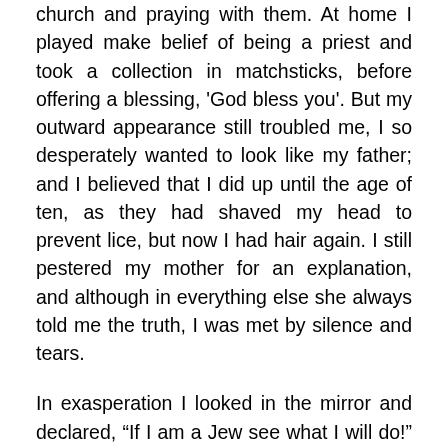church and praying with them. At home I played make belief of being a priest and took a collection in matchsticks, before offering a blessing, 'God bless you'. But my outward appearance still troubled me, I so desperately wanted to look like my father; and I believed that I did up until the age of ten, as they had shaved my head to prevent lice, but now I had hair again. I still pestered my mother for an explanation, and although in everything else she always told me the truth, I was met by silence and tears.
In exasperation I looked in the mirror and declared, “If I am a Jew see what I will do!” However, despite this assertion I didn’t want to be a Jew who had killed Jesus. Furthermore there were no Jews living around us, so I didn’t know what it was meant to be like – I just wanted to be an ordinary